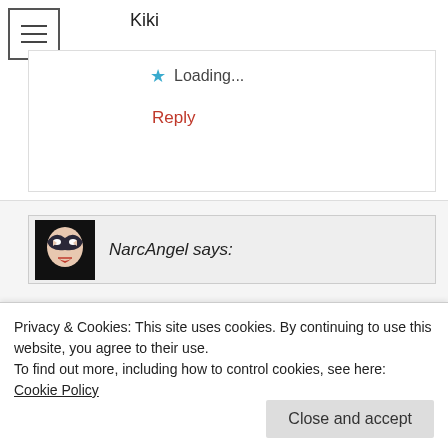Kiki
Loading...
Reply
NarcAngel says:
February 25, 2017 at 03:02
You’re disgusted?
Privacy & Cookies: This site uses cookies. By continuing to use this website, you agree to their use.
To find out more, including how to control cookies, see here: Cookie Policy
Close and accept